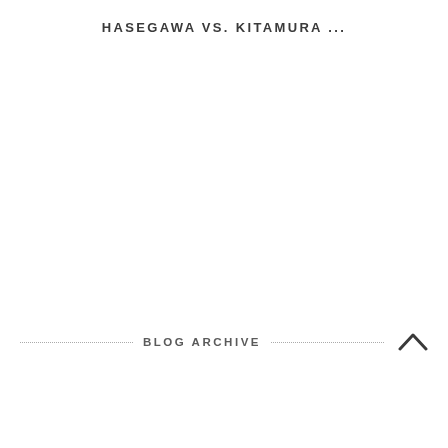HASEGAWA VS. KITAMURA ...
BLOG ARCHIVE